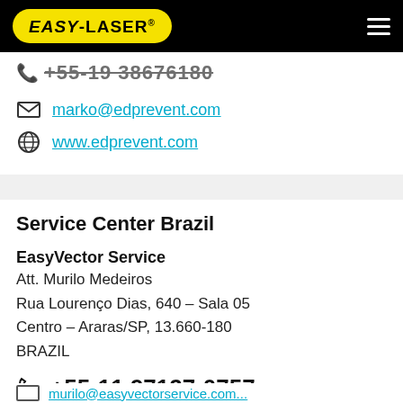[Figure (logo): Easy-Laser logo in yellow rounded rectangle on black header bar]
+55-19 3876100 (partial, cut off at top)
marko@edprevent.com
www.edprevent.com
Service Center Brazil
EasyVector Service
Att. Murilo Medeiros
Rua Lourenço Dias, 640 – Sala 05
Centro – Araras/SP, 13.660-180
BRAZIL
+55-11 97127-0757